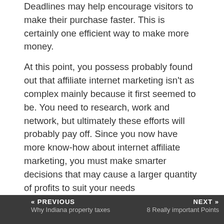Deadlines may help encourage visitors to make their purchase faster. This is certainly one efficient way to make more money.
At this point, you possess probably found out that affiliate internet marketing isn't as complex mainly because it first seemed to be. You need to research, work and network, but ultimately these efforts will probably pay off. Since you now have more know-how about internet affiliate marketing, you must make smarter decisions that may cause a larger quantity of profits to suit your needs https://www.youtube.com/watch?v=54JzFkoRNEk.
Posts Tagged with… affiliate marketing
« PREVIOUS Why Indiana property taxes … | NEXT » 8 Really important Points …